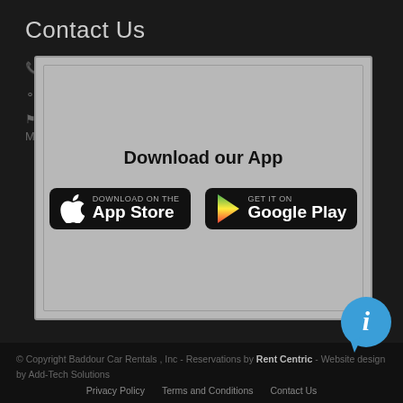Contact Us
✆ ✉ info@baddourcarentals.com
⊙ Mon - Sat 8:00 AM - 5:00 PM Sunday CLOSED
✦ Address: Baddour Rentals, 1 ... apolis, MD 21401
[Figure (screenshot): App download overlay modal with title 'Download our App', Apple App Store button and Google Play button on gray background]
[Figure (logo): Social media icons: Facebook (blue circle with f), Twitter (blue circle with bird), YouTube (red circle with play button)]
© Copyright Baddour Car Rentals , Inc - Reservations by Rent Centric - Website design by Add-Tech Solutions
Privacy Policy   Terms and Conditions   Contact Us